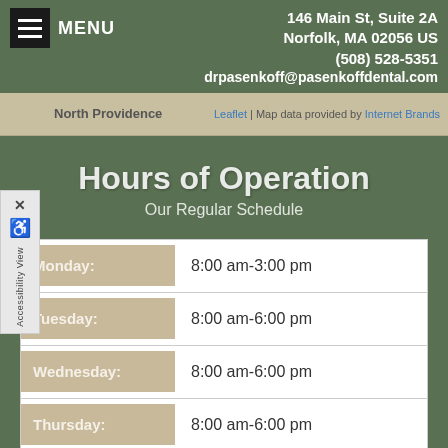MENU | 146 Main St, Suite 2A, Norfolk, MA 02056 US | (508) 528-5351 | drpasenkoff@pasenkoffdental.com
[Figure (map): Small map strip showing North Providence area with Leaflet attribution]
Hours of Operation
Our Regular Schedule
| Day | Hours |
| --- | --- |
| Monday: | 8:00 am-3:00 pm |
| Tuesday: | 8:00 am-6:00 pm |
| Wednesday: | 8:00 am-6:00 pm |
| Thursday: | 8:00 am-6:00 pm |